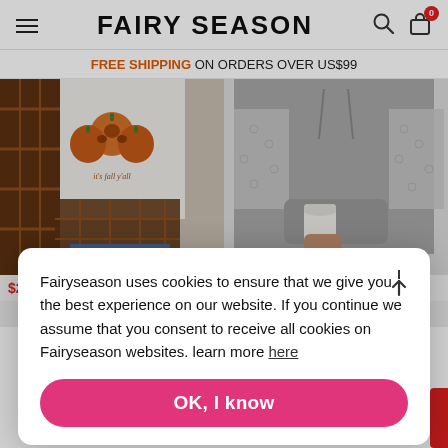FAIRY SEASON
FREE SHIPPING ON ORDERS OVER US$99
[Figure (photo): Two women's fashion product photos side by side: left shows a pumpkin graphic sweatshirt and plaid jacket, right shows a grey hoodie with lace sleeves]
$2...
Fairyseason uses cookies to ensure that we give you the best experience on our website. If you continue we assume that you consent to receive all cookies on Fairyseason websites. learn more here
OK, I know